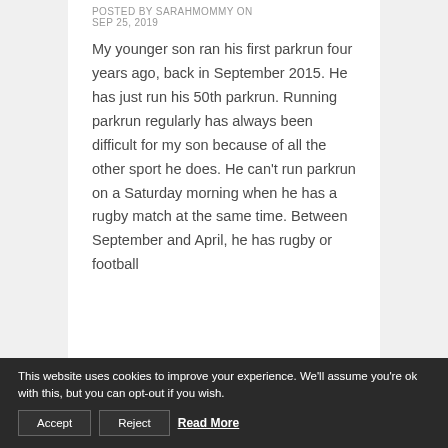POSTED BY SARAHMOMMY ON SEP 25, 2019
My younger son ran his first parkrun four years ago, back in September 2015. He has just run his 50th parkrun. Running parkrun regularly has always been difficult for my son because of all the other sport he does. He can't run parkrun on a Saturday morning when he has a rugby match at the same time. Between September and April, he has rugby or football
This website uses cookies to improve your experience. We'll assume you're ok with this, but you can opt-out if you wish. Accept Reject Read More